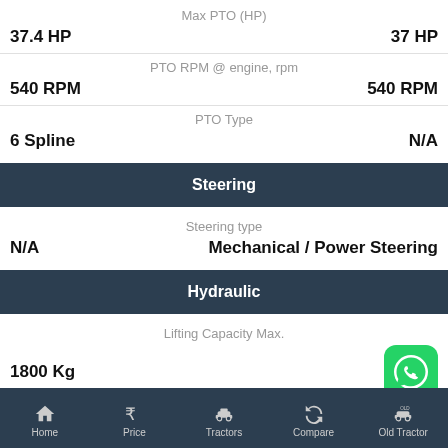Max PTO (HP)
37.4 HP | 37 HP
PTO RPM @ engine, rpm
540 RPM | 540 RPM
PTO Type
6 Spline | N/A
Steering
Steering type
N/A | Mechanical / Power Steering
Hydraulic
Lifting Capacity Max.
1800 Kg
Dimensions & Weight
Home | Price | Tractors | Compare | Old Tractor